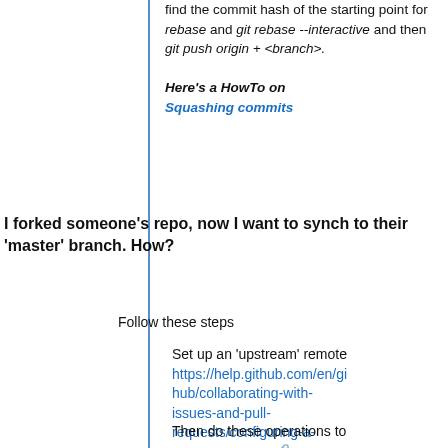find the commit hash of the starting point for rebase and git rebase --interactive and then git push origin + <branch>.
Here's a HowTo on Squashing commits
I forked someone's repo, now I want to synch to their 'master' branch. How?
Follow these steps
Set up an 'upstream' remote https://help.github.com/en/github/collaborating-with-issues-and-pull-requests/configuring-a-remote-for-a-fork
Then do these operations to